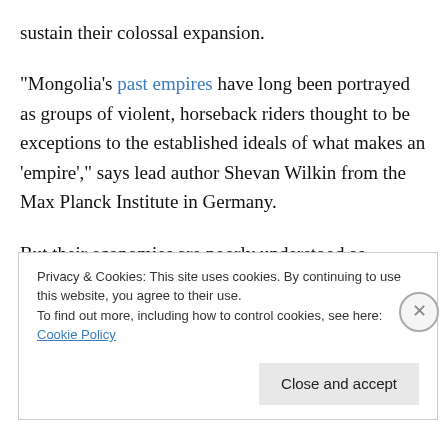sustain their colossal expansion.
“Mongolia’s past empires have long been portrayed as groups of violent, horseback riders thought to be exceptions to the established ideals of what makes an ‘empire’,” says lead author Shevan Wilkin from the Max Planck Institute in Germany.
But their economies are poorly understood as extreme winds in the historic Mongolian landscape have blown away sedimentary evidence of human activity, thwarting
Privacy & Cookies: This site uses cookies. By continuing to use this website, you agree to their use.
To find out more, including how to control cookies, see here: Cookie Policy